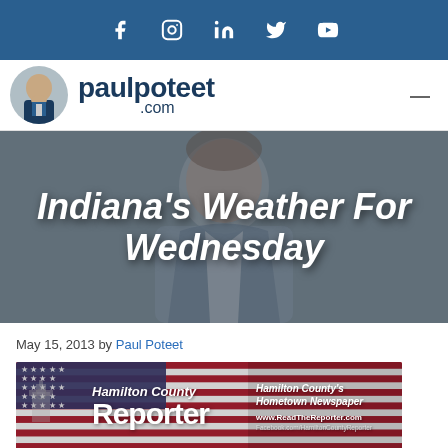Social media icon bar (Facebook, Instagram, LinkedIn, Twitter, YouTube)
[Figure (logo): paulpoteet.com logo with circular headshot photo of Paul Poteet in suit]
[Figure (photo): Blurred photo of Paul Poteet with large white bold italic text overlay reading: Indiana's Weather For Wednesday]
May 15, 2013 by Paul Poteet
[Figure (illustration): Hamilton County Reporter newspaper banner advertisement with American flag background, clock tower, and text: Hamilton County Reporter - Hamilton County's Hometown Newspaper - www.ReadTheReporter.com - Facebook.com/HamiltonCountyReporter]